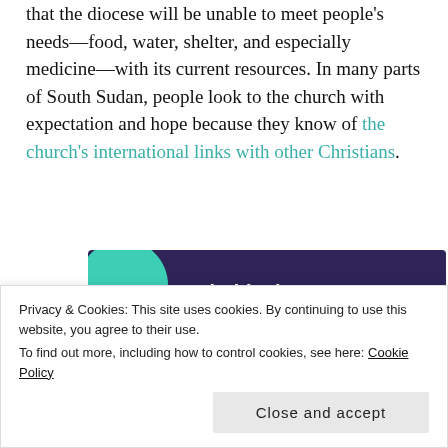that the diocese will be unable to meet people's needs—food, water, shelter, and especially medicine—with its current resources. In many parts of South Sudan, people look to the church with expectation and hope because they know of the church's international links with other Christians.
[Figure (infographic): Advertisement banner with dark purple background and teal/cyan decorative shapes. Text reads 'Turn your hobby into a business in 8 steps' with a 'Start a new store' button.]
Privacy & Cookies: This site uses cookies. By continuing to use this website, you agree to their use.
To find out more, including how to control cookies, see here: Cookie Policy
Close and accept